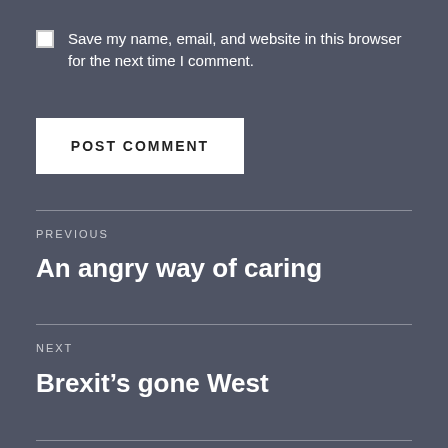Save my name, email, and website in this browser for the next time I comment.
POST COMMENT
PREVIOUS
An angry way of caring
NEXT
Brexit’s gone West